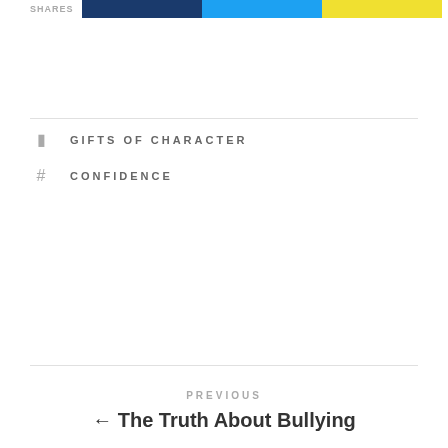[Figure (infographic): Share bar with blue, cyan, and yellow colored segments labeled SHARES]
GIFTS OF CHARACTER
CONFIDENCE
PREVIOUS
← The Truth About Bullying
NEXT
2 Lesson Learned From Aggressive Behavior In Children →